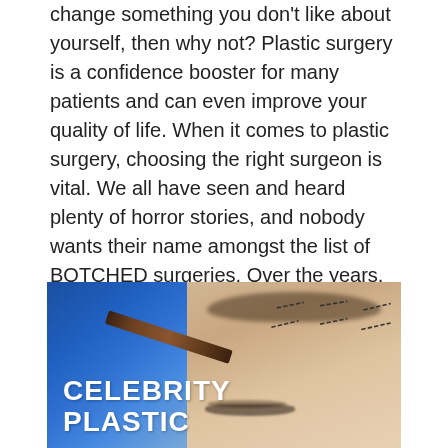change something you don't like about yourself, then why not? Plastic surgery is a confidence booster for many patients and can even improve your quality of life. When it comes to plastic surgery, choosing the right surgeon is vital. We all have seen and heard plenty of horror stories, and nobody wants their name amongst the list of BOTCHED surgeries. Over the years, many Plastic surgeons have reached celebrity status, thanks to TV Shows and famous celebrity patients that proudly admit undergoing the knife on social media! Let's have a look at celebrity plastic surgeons!
[Figure (photo): A photo of a person's face with eyes closed, having surgical marking lines drawn near the forehead/brow area by a gloved hand holding a pencil. Text overlay reads 'CELEBRITY PLASTIC' in bold white letters.]